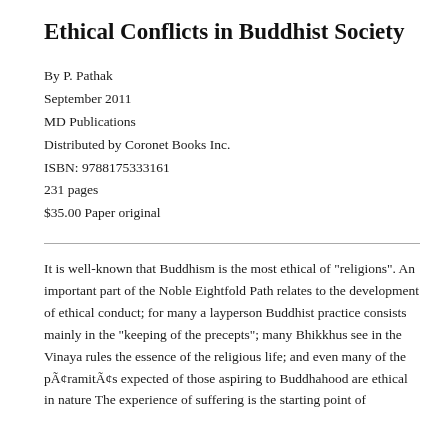Ethical Conflicts in Buddhist Society
By P. Pathak
September 2011
MD Publications
Distributed by Coronet Books Inc.
ISBN: 9788175333161
231 pages
$35.00 Paper original
It is well-known that Buddhism is the most ethical of "religions". An important part of the Noble Eightfold Path relates to the development of ethical conduct; for many a layperson Buddhist practice consists mainly in the "keeping of the precepts"; many Bhikkhus see in the Vinaya rules the essence of the religious life; and even many of the pāramitās expected of those aspiring to Buddhahood are ethical in nature The experience of suffering is the starting point of